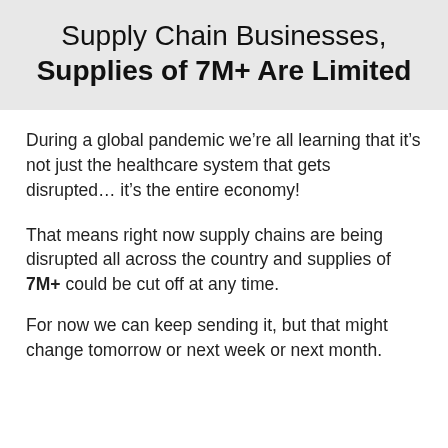Supply Chain Businesses, Supplies of 7M+ Are Limited
During a global pandemic we’re all learning that it’s not just the healthcare system that gets disrupted… it’s the entire economy!
That means right now supply chains are being disrupted all across the country and supplies of 7M+ could be cut off at any time.
For now we can keep sending it, but that might change tomorrow or next week or next month.